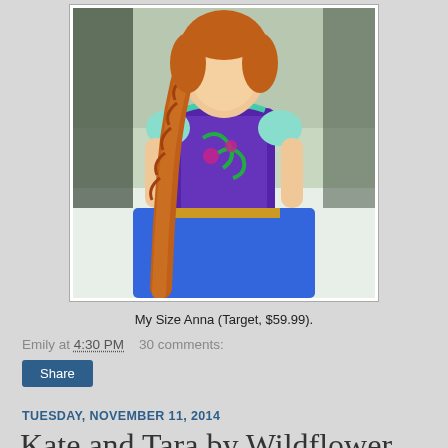[Figure (photo): A large doll dressed as Anna from Frozen, wearing a blue and purple dress with decorative embroidery and a long orange braid, photographed outdoors in a snowy setting.]
My Size Anna (Target, $59.99).
Emily at 4:30 PM    30 comments:
Share
TUESDAY, NOVEMBER 11, 2014
Kate and Tara by Wildflower Dolls